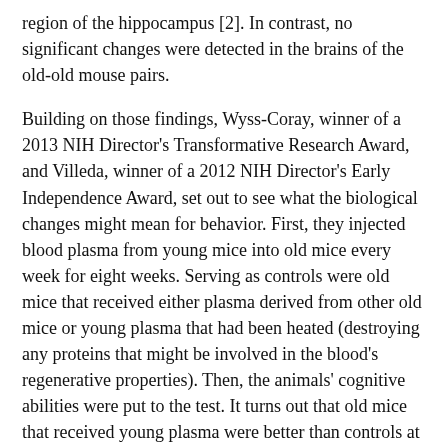region of the hippocampus [2]. In contrast, no significant changes were detected in the brains of the old-old mouse pairs.
Building on those findings, Wyss-Coray, winner of a 2013 NIH Director's Transformative Research Award, and Villeda, winner of a 2012 NIH Director's Early Independence Award, set out to see what the biological changes might mean for behavior. First, they injected blood plasma from young mice into old mice every week for eight weeks. Serving as controls were old mice that received either plasma derived from other old mice or young plasma that had been heated (destroying any proteins that might be involved in the blood's regenerative properties). Then, the animals' cognitive abilities were put to the test. It turns out that old mice that received young plasma were better than controls at remembering spatial tasks and recalling frightening experiences, showing that their spatial and contextual memory skills had improved.
These researchers suspected that the CREB protein, a master regulator of neuronal plasticity, orchestrated a significant number of rejuvenating effects and that